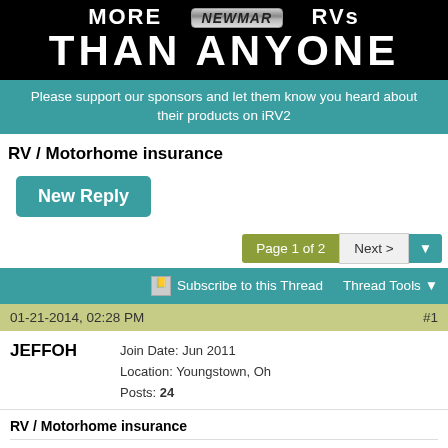[Figure (illustration): Advertisement banner for More Newmar RVs showing 'THAN ANYONE' in large white text on black background with Newmar logo badge]
Please support our sponsors and let them know you heard about their products on iRV2
RV / Motorhome insurance
New Reply
Page 1 of 2  Next >
Subscribe to this Thread  Thread Tools
01-21-2014, 02:28 PM  #1
JEFFOH  Join Date: Jun 2011  Location: Youngstown, Oh  Posts: 24
RV / Motorhome insurance
I had a bad situation with my RV. It is a 1994 Holiday Rambler Imperial. Basically ...